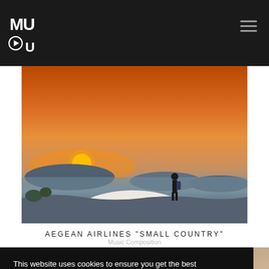MUOU logo and navigation
[Figure (photo): A person standing on top of a white dome building overlooking a Greek island landscape at sunset, with an orange sky and sun on the horizon, sea and hills in the background]
AEGEAN AIRLINES "SMALL COUNTRY"
Music Composition
This website uses cookies to ensure you get the best experience. Learn more
Refuse cookies | Allow cookies